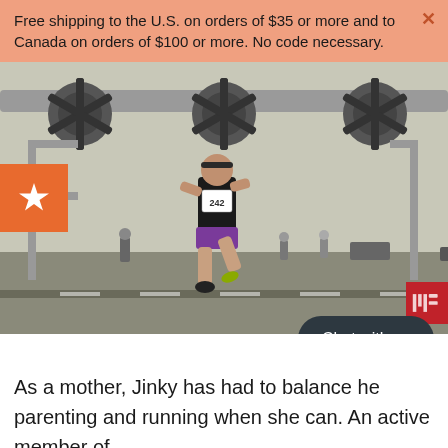Free shipping to the U.S. on orders of $35 or more and to Canada on orders of $100 or more. No code necessary.
[Figure (photo): A young girl wearing bib number 242 running in a race under a large aircraft (military plane) structure at an airshow venue. Other spectators and vehicles are visible in the background.]
As a mother, Jinky has had to balance her parenting and running when she can. An active member of